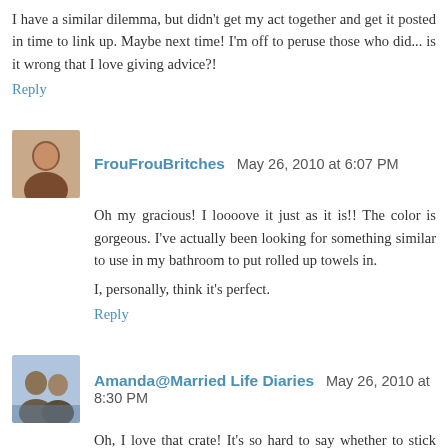I have a similar dilemma, but didn't get my act together and get it posted in time to link up. Maybe next time! I'm off to peruse those who did... is it wrong that I love giving advice?!
Reply
FrouFrouBritches  May 26, 2010 at 6:07 PM
Oh my gracious! I loooove it just as it is!! The color is gorgeous. I've actually been looking for something similar to use in my bathroom to put rolled up towels in.
I, personally, think it's perfect.
Reply
Amanda@Married Life Diaries  May 26, 2010 at 8:30 PM
Oh, I love that crate! It's so hard to say whether to stick with the old or go with the new! Can't wait to see what you come up with. Be thanks for doing this, you got me back on the